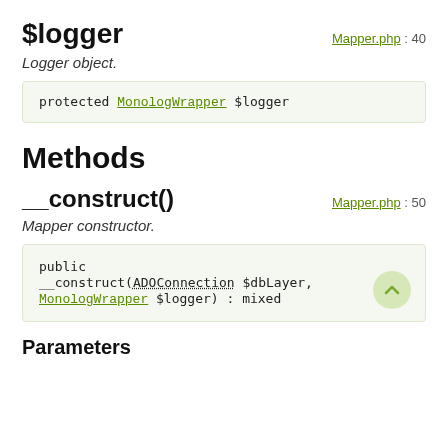$logger
Mapper.php : 40
Logger object.
protected MonologWrapper $logger
Methods
__construct()
Mapper.php : 50
Mapper constructor.
public __construct(ADOConnection $dbLayer, MonologWrapper $logger) : mixed
Parameters